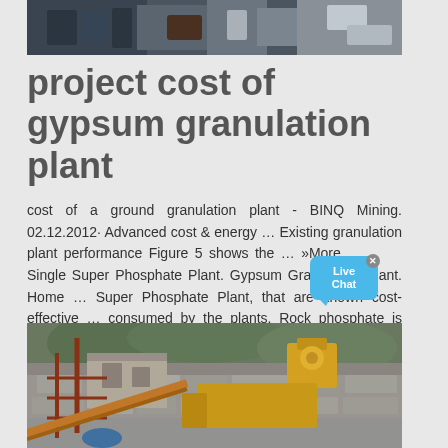[Figure (photo): Industrial machinery equipment at top of page - dark colored machines on grey background]
project cost of gypsum granulation plant
cost of a ground granulation plant - BINQ Mining. 02.12.2012· Advanced cost & energy … Existing granulation plant performance Figure 5 shows the … »More … Single Super Phosphate Plant. Gypsum Granulation Plant. Home … Super Phosphate Plant, that are known cost-effective … consumed by the plants. Rock phosphate is ground ...
[Figure (photo): Construction site with industrial mining or crushing equipment, yellow machinery, scaffolding, stone walls and hillside in background]